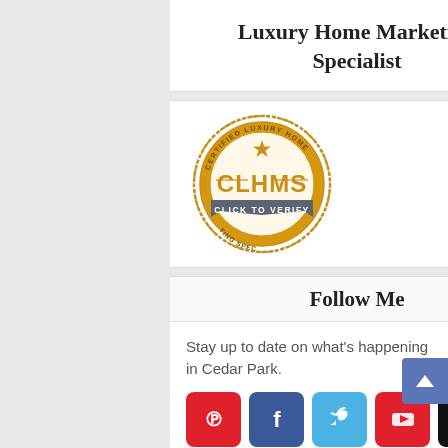Luxury Home Marketing Specialist
[Figure (logo): CLHMS Certified Luxury Home Marketing Specialist badge/seal with gold border, star, and banner reading CLICK TO VERIFY]
Follow Me
Stay up to date on what's happening in Cedar Park.
[Figure (infographic): Social media icon buttons: Pinterest (red), Facebook (dark blue), Twitter (light blue), YouTube (red), Instagram (black)]
Categories